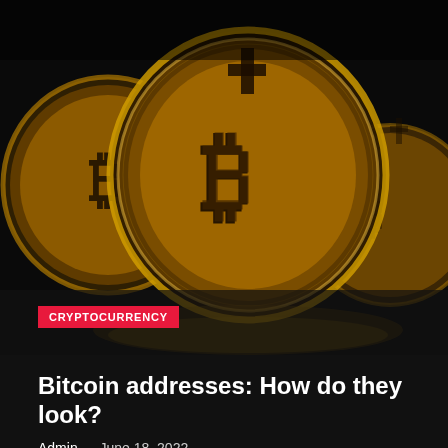[Figure (photo): Three gold Bitcoin coins on a dark black background, with Bitcoin symbols (₿) on each coin]
CRYPTOCURRENCY
Bitcoin addresses: How do they look?
Admin — June 18, 2022
Copyright © 2022 Crypto Currency Newz. © 2022 Crypto Currency Newz - All Rights Reserved.
Theme: JoltNews By Themeinwp. Powered by WordPress.